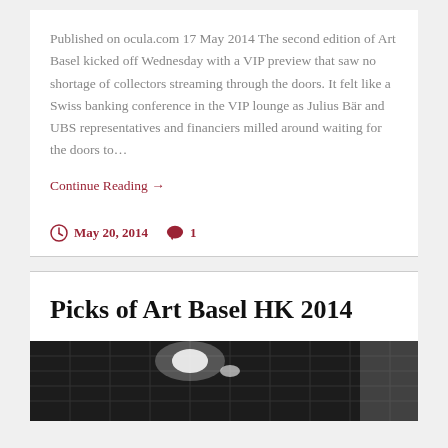Published on ocula.com 17 May 2014 The second edition of Art Basel kicked off Wednesday with a VIP preview that saw no shortage of collectors streaming through the doors. It felt like a Swiss banking conference in the VIP lounge as Julius Bär and UBS representatives and financiers milled around waiting for the doors to…
Continue Reading →
May 20, 2014  1
Picks of Art Basel HK 2014
[Figure (photo): Interior ceiling of Art Basel HK 2014 exhibition hall with grid ceiling structure and bright lights]